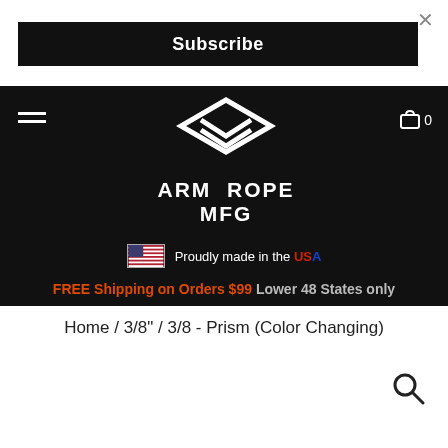×
Subscribe
[Figure (logo): ARM ROPE MFG logo with chevron/arrow design on black background, hamburger menu left, cart icon right]
Proudly made in the USA
FREE Shipping on Orders $99 Lower 48 States only
Home / 3/8" / 3/8 - Prism (Color Changing)
[Figure (other): Search icon (magnifying glass)]